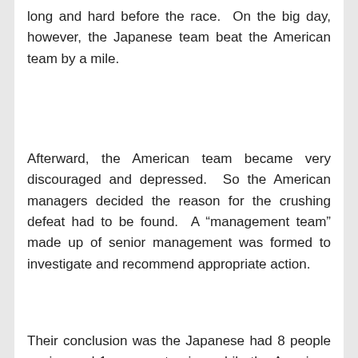long and hard before the race.  On the big day, however, the Japanese team beat the American team by a mile.
Afterward, the American team became very discouraged and depressed.  So the American managers decided the reason for the crushing defeat had to be found.  A “management team” made up of senior management was formed to investigate and recommend appropriate action.
Their conclusion was the Japanese had 8 people rowing and 1 person steering, while the American team had 8 people steering and one person rowing.  So the American “management team” hired a consulting firm to tell them what to do … paying them a great